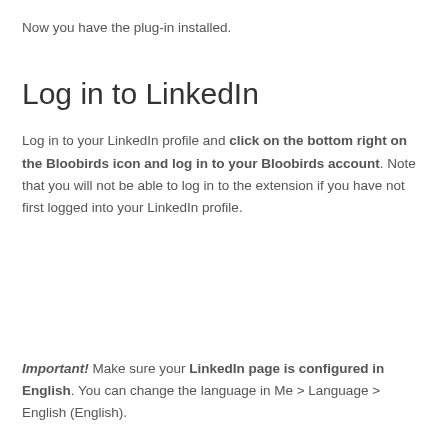Now you have the plug-in installed.
Log in to LinkedIn
Log in to your LinkedIn profile and click on the bottom right on the Bloobirds icon and log in to your Bloobirds account. Note that you will not be able to log in to the extension if you have not first logged into your LinkedIn profile.
Important! Make sure your LinkedIn page is configured in English. You can change the language in Me > Language > English (English).